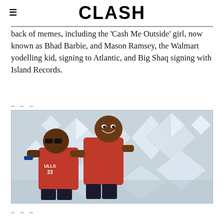CLASH
back of memes, including the 'Cash Me Outside' girl, now known as Bhad Barbie, and Mason Ramsey, the Walmart yodelling kid, signing to Atlantic, and Big Shaq signing with Island Records.
– – –
[Figure (photo): Two men posing together in front of a diamond-studded background. One man wears a Chicago Bulls jersey (#23) and sunglasses, the other wears a red basketball jersey and is smiling broadly.]
– – –